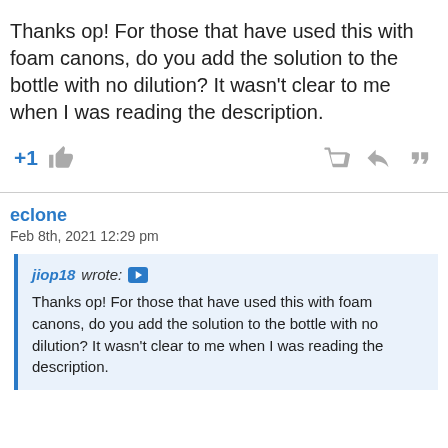Thanks op! For those that have used this with foam canons, do you add the solution to the bottle with no dilution? It wasn't clear to me when I was reading the description.
+1
eclone
Feb 8th, 2021 12:29 pm
jiop18 wrote: Thanks op! For those that have used this with foam canons, do you add the solution to the bottle with no dilution? It wasn't clear to me when I was reading the description.